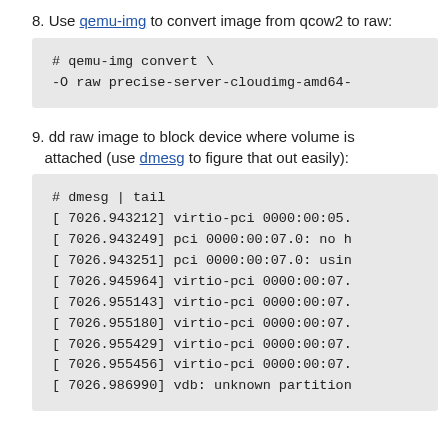8. Use qemu-img to convert image from qcow2 to raw:
# qemu-img convert \
-O raw precise-server-cloudimg-amd64-
9. dd raw image to block device where volume is attached (use dmesg to figure that out easily):
# dmesg | tail
[ 7026.943212] virtio-pci 0000:00:05.
[ 7026.943249] pci 0000:00:07.0: no h
[ 7026.943251] pci 0000:00:07.0: usin
[ 7026.945964] virtio-pci 0000:00:07.
[ 7026.955143] virtio-pci 0000:00:07.
[ 7026.955180] virtio-pci 0000:00:07.
[ 7026.955429] virtio-pci 0000:00:07.
[ 7026.955456] virtio-pci 0000:00:07.
[ 7026.986990] vdb: unknown partition